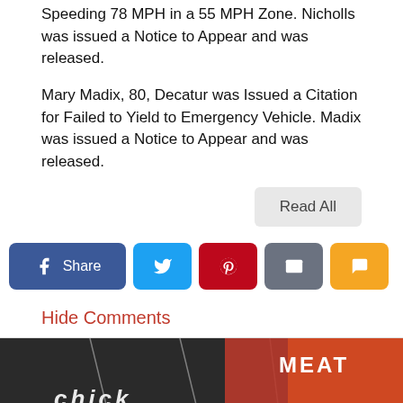Speeding 78 MPH in a 55 MPH Zone. Nicholls was issued a Notice to Appear and was released.
Mary Madix, 80, Decatur was Issued a Citation for Failed to Yield to Emergency Vehicle. Madix was issued a Notice to Appear and was released.
Read All
[Figure (other): Social share buttons: Facebook Share, Twitter, Pinterest, Email, SMS]
Hide Comments
[Figure (photo): Bottom partial photo showing interior of a store with ceiling lights and a red MEAT sign, with partial text below]